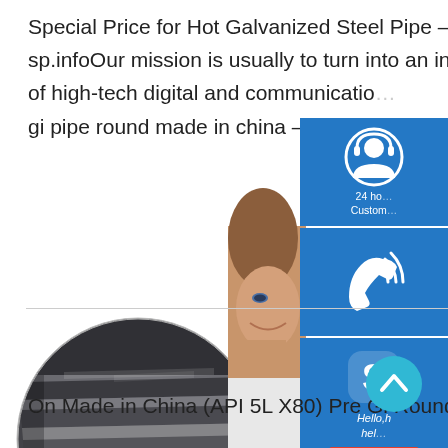Special Price for Hot Galvanized Steel Pipe – Galvanized sp.infoOur mission is usually to turn into an innovative provider of high-tech digital and communicatio… gi pipe round made in china – Mild Steel –
[Figure (photo): Circular cropped photo of stacked steel/metal plates or sheets, dark grey color, industrial setting]
[Figure (screenshot): Right-side UI overlay with three blue widget panels: (1) 24-hour customer support icon with headset person, (2) Phone/call icon, (3) Skype icon with Hello text and Chat Now button in red; a woman's face partially visible behind the panels]
[Figure (other): Teal/cyan circular scroll-to-top button with upward chevron arrow]
On Made in China (API 5L X80) Pre Gi Round Steel